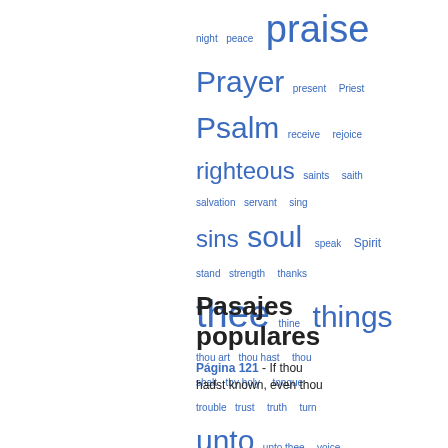[Figure (infographic): Word cloud of biblical/religious terms in varying sizes indicating frequency, displayed in blue text. Words include: night, peace, praise, Prayer, present, Priest, Psalm, receive, rejoice, righteous, saints, saith, salvation, servant, sing, sins, soul, speak, Spirit, stand, strength, thanks, thee, thine, things, thou art, thou hast, thou shalt, thy holy, tongue, trouble, trust, truth, turn, unto, unto thee, voice, wicked]
Pasajes populares
Página 121 - If thou hadst known, even thou